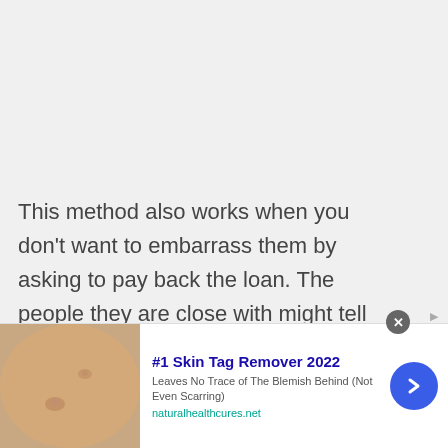This method also works when you don't want to embarrass them by asking to pay back the loan. The people they are close with might tell them something like, "I saw Name last night, and he
[Figure (other): Advertisement banner: '#1 Skin Tag Remover 2022 - Leaves No Trace of The Blemish Behind (Not Even Scarring)' at naturalhealthcures.net, with a skin photo and a blue arrow button. A close (X) button and an Ad label appear at the top.]